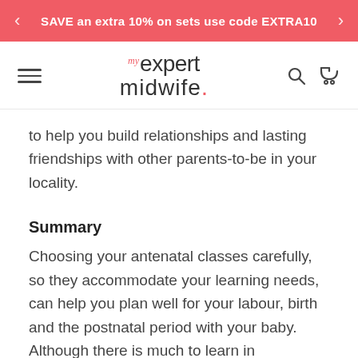SAVE an extra 10% on sets use code EXTRA10
[Figure (logo): My Expert Midwife logo with hamburger menu, search and cart icons]
to help you build relationships and lasting friendships with other parents-to-be in your locality.
Summary
Choosing your antenatal classes carefully, so they accommodate your learning needs, can help you plan well for your labour, birth and the postnatal period with your baby. Although there is much to learn in preparation for your birth and new arrival, your antenatal classes should also be interesting